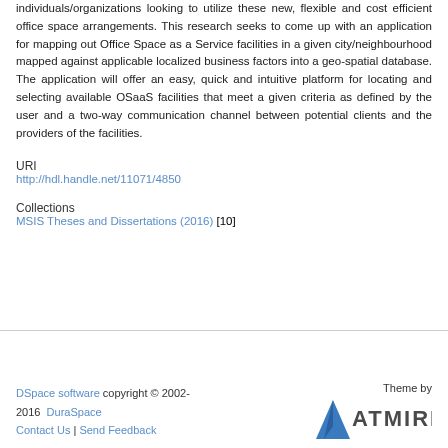individuals/organizations looking to utilize these new, flexible and cost efficient office space arrangements. This research seeks to come up with an application for mapping out Office Space as a Service facilities in a given city/neighbourhood mapped against applicable localized business factors into a geo-spatial database. The application will offer an easy, quick and intuitive platform for locating and selecting available OSaaS facilities that meet a given criteria as defined by the user and a two-way communication channel between potential clients and the providers of the facilities.
URI
http://hdl.handle.net/11071/4850
Collections
MSIS Theses and Dissertations (2016) [10]
DSpace software copyright © 2002-2016  DuraSpace | Contact Us | Send Feedback | Theme by ATMIRE